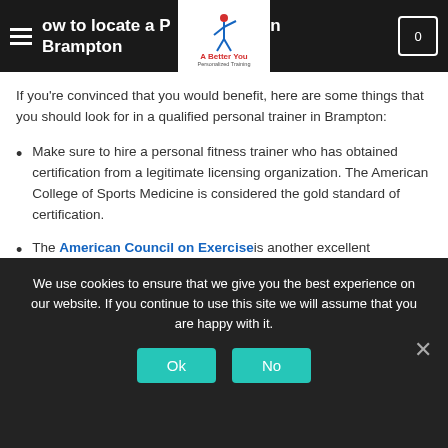How to locate a Personal trainer in Brampton
[Figure (logo): A Better You Personalized Training logo with stylized figure]
If you're convinced that you would benefit, here are some things that you should look for in a qualified personal trainer in Brampton:
Make sure to hire a personal fitness trainer who has obtained certification from a legitimate licensing organization. The American College of Sports Medicine is considered the gold standard of certification.
The American Council on Exercise is another excellent certification organization...
We use cookies to ensure that we give you the best experience on our website. If you continue to use this site we will assume that you are happy with it.